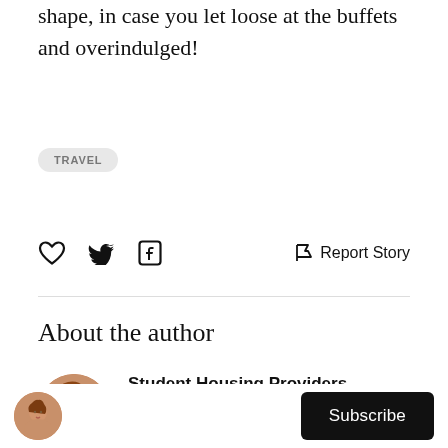shape, in case you let loose at the buffets and overindulged!
TRAVEL
[Figure (infographic): Social action icons: heart (like), Twitter bird, Facebook f; and Report Story flag icon on the right]
About the author
[Figure (photo): Circular avatar photo of a woman with red/auburn hair]
Student Housing Providers
Our company University Living is a global student housing marketplace that helps international students find the best place to stay
[Figure (photo): Small circular avatar at bottom bar]
Subscribe